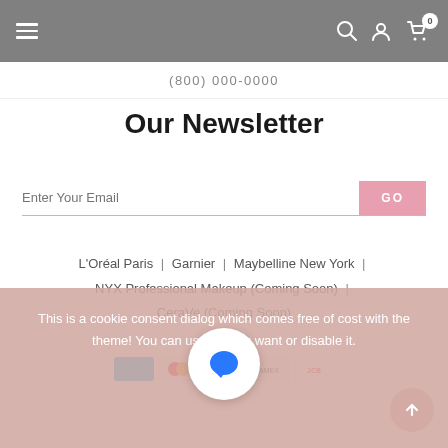(800) 000-0000
Our Newsletter
Enter Your Email / GO
L'Oréal Paris | Garnier | Maybelline New York | NYX Professional Makeup (Coming Soon) | CeraVe (Coming Soon)
This is a cookie consent dialog which comes free of cost with the theme! You can use it if you want or disable it.